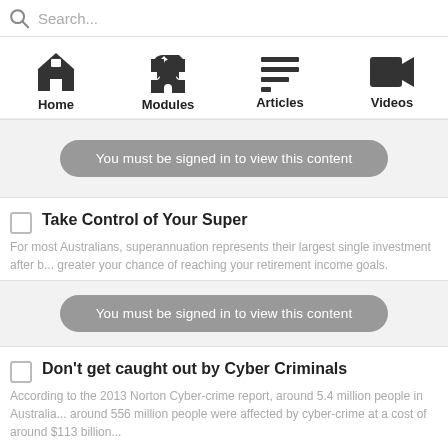Search...
[Figure (screenshot): Navigation bar with four icons: Home, Modules, Articles (active), Videos]
[Figure (screenshot): Locked content area with button: You must be signed in to view this content]
Take Control of Your Super
For most Australians, superannuation represents their largest single investment after b... greater your chance of reaching your retirement income goals.
[Figure (screenshot): Locked content area with button: You must be signed in to view this content]
Don't get caught out by Cyber Criminals
According to the 2013 Norton Cyber-crime report, around 5.4 million people in Australia... around 556 million people were affected by cyber-crime at a cost of around $113 billion...